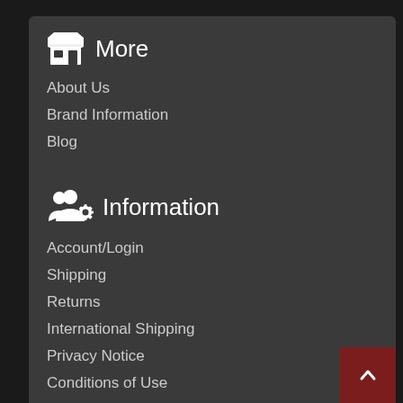More
About Us
Brand Information
Blog
Information
Account/Login
Shipping
Returns
International Shipping
Privacy Notice
Conditions of Use
Contact Us
Gift Certificate FAQ